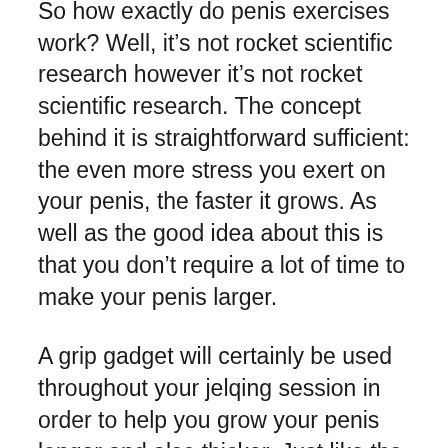So how exactly do penis exercises work? Well, it's not rocket scientific research however it's not rocket scientific research. The concept behind it is straightforward sufficient: the even more stress you exert on your penis, the faster it grows. As well as the good idea about this is that you don't require a lot of time to make your penis larger.
A grip gadget will certainly be used throughout your jelqing session in order to help you grow your penis longer and also thicker. Just like the penis exercises, you need to start slowly when you're executing this workout to prevent any unneeded pain. By applying small stress, you can force your penis to grow in length as well as width. And also just like the exercises, you don't require